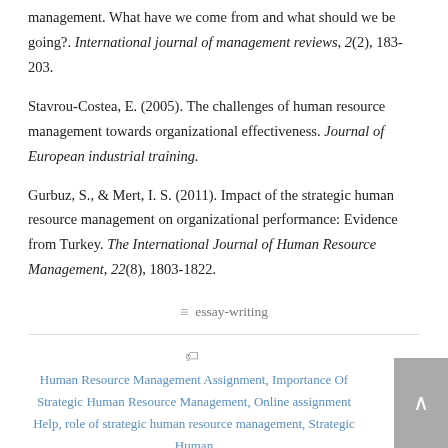management. What have we come from and what should we be going?. International journal of management reviews, 2(2), 183-203.
Stavrou-Costea, E. (2005). The challenges of human resource management towards organizational effectiveness. Journal of European industrial training.
Gurbuz, S., & Mert, I. S. (2011). Impact of the strategic human resource management on organizational performance: Evidence from Turkey. The International Journal of Human Resource Management, 22(8), 1803-1822.
essay-writing
Human Resource Management Assignment, Importance Of Strategic Human Resource Management, Online assignment Help, role of strategic human resource management, Strategic Human